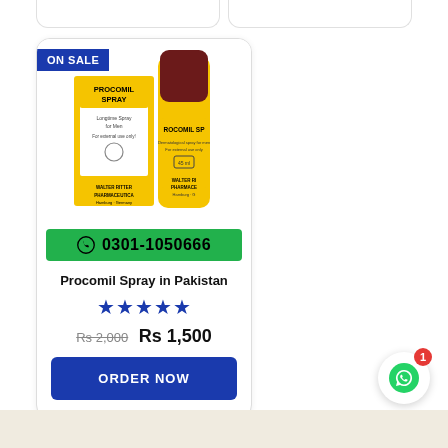[Figure (photo): Procomil Spray product image showing box and bottle with ON SALE badge, phone number bar 0301-1050666 on green background]
Procomil Spray in Pakistan
★★★★★
Rs 2,000  Rs 1,500
ORDER NOW
[Figure (illustration): WhatsApp floating button with red badge showing 1]